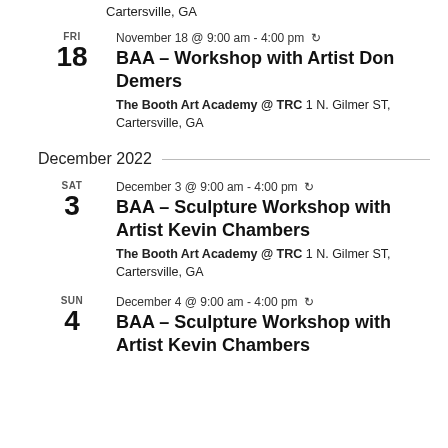Cartersville, GA
FRI 18 — November 18 @ 9:00 am - 4:00 pm — BAA – Workshop with Artist Don Demers — The Booth Art Academy @ TRC 1 N. Gilmer ST, Cartersville, GA
December 2022
SAT 3 — December 3 @ 9:00 am - 4:00 pm — BAA – Sculpture Workshop with Artist Kevin Chambers — The Booth Art Academy @ TRC 1 N. Gilmer ST, Cartersville, GA
SUN 4 — December 4 @ 9:00 am - 4:00 pm — BAA – Sculpture Workshop with Artist Kevin Chambers